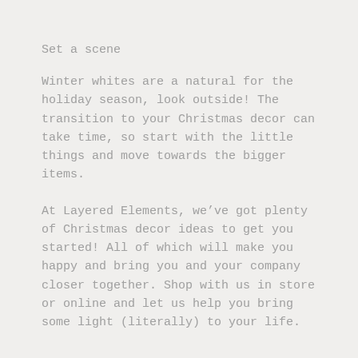Set a scene
Winter whites are a natural for the holiday season, look outside! The transition to your Christmas decor can take time, so start with the little things and move towards the bigger items.
At Layered Elements, we've got plenty of Christmas decor ideas to get you started! All of which will make you happy and bring you and your company closer together. Shop with us in store or online and let us help you bring some light (literally) to your life.
xx,
Taryn